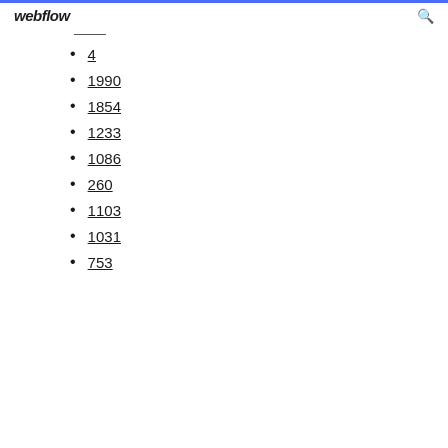webflow
4
1990
1854
1233
1086
260
1103
1031
753